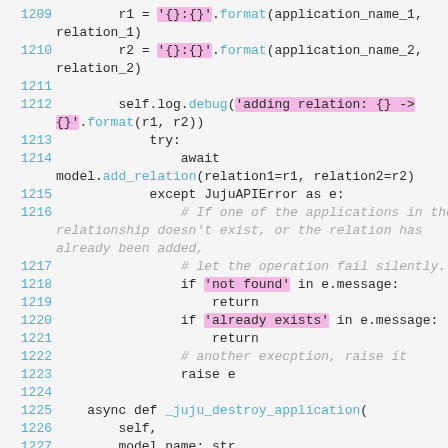Code listing lines 1209-1227 showing Python async method with relation formatting, debug logging, try/except error handling, and _juju_destroy_application definition